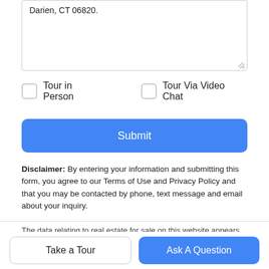Darien, CT 06820.
Tour in Person
Tour Via Video Chat
Submit
Disclaimer: By entering your information and submitting this form, you agree to our Terms of Use and Privacy Policy and that you may be contacted by phone, text message and email about your inquiry.
The data relating to real estate for sale on this website appears in part through the SMARTMLS Internet Data Exchange program, a voluntary cooperative exchange of property listing data between
Take a Tour
Ask A Question